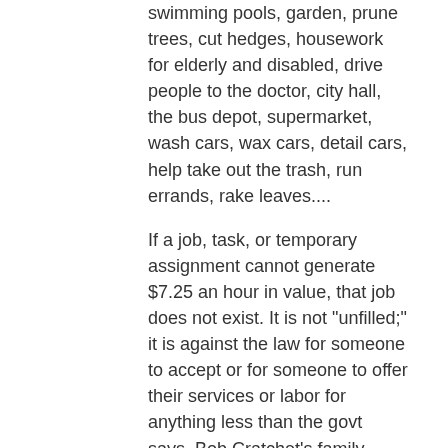swimming pools, garden, prune trees, cut hedges, housework for elderly and disabled, drive people to the doctor, city hall, the bus depot, supermarket, wash cars, wax cars, detail cars, help take out the trash, run errands, rake leaves....
If a job, task, or temporary assignment cannot generate $7.25 an hour in value, that job does not exist. It is not "unfilled;" it is against the law for someone to accept or for someone to offer their services or labor for anything less than the govt says. Bob Cratchet's family would not be able to celebrate the position that he found for his oldest boy, Master Peter, on Christmas Day, would they?
Why, pray tell, are jobs moving offshore by the millions?.
Hussain Fahmy - 12/27/2013 at 05:42